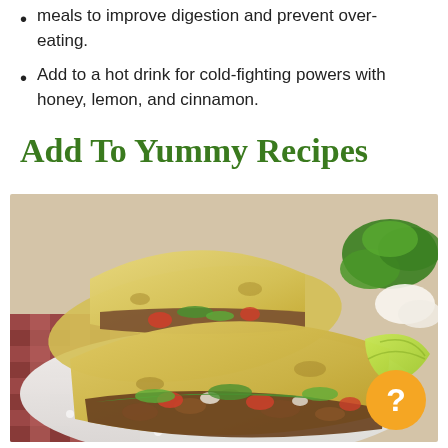meals to improve digestion and prevent over-eating.
Add to a hot drink for cold-fighting powers with honey, lemon, and cinnamon.
Add To Yummy Recipes
[Figure (photo): Photo of three street tacos with corn tortillas filled with grilled meat, tomatoes, green onions, and cilantro, served on a white plate with lime wedges and a checkered cloth background]